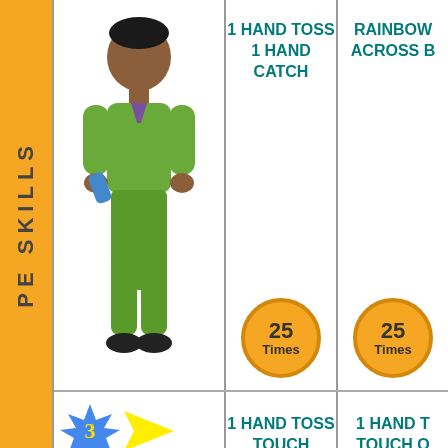PE SKILLS
[Figure (illustration): Cartoon boy with dark skin holding a blue cloth, wearing green clothes]
1 HAND TOSS
1 HAND CATCH
25 Times
RAINBOW
ACROSS B
25 Times
[Figure (illustration): Starburst with number 3 and yellow arrow, cartoon girl with blonde hair in purple and green outfit]
1 HAND TOSS
TOUCH OPPOSITE SHOULDER
CATCH
20 Times
1 HAND T
TOUCH O
FOOT
CATCH
20 Times
[Figure (illustration): Starburst with number 5 and yellow arrow]
TOSS
TOSS (partial)